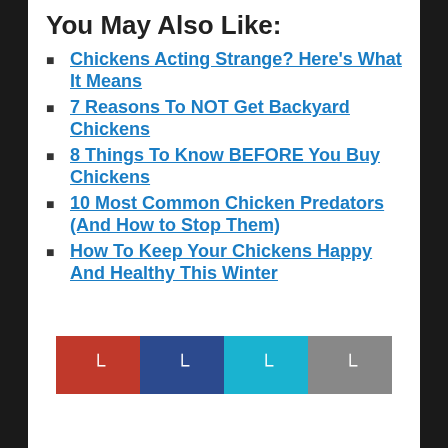You May Also Like:
Chickens Acting Strange? Here's What It Means
7 Reasons To NOT Get Backyard Chickens
8 Things To Know BEFORE You Buy Chickens
10 Most Common Chicken Predators (And How to Stop Them)
How To Keep Your Chickens Happy And Healthy This Winter